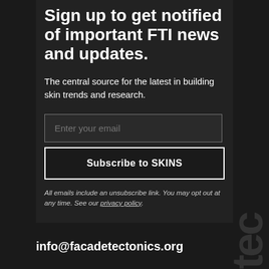Sign up to get notified of important FTI news and updates.
The central source for the latest in building skin trends and research.
Enter your email
Subscribe to SKINS
All emails include an unsubscribe link. You may opt out at any time. See our privacy policy.
info@facadetectonics.org